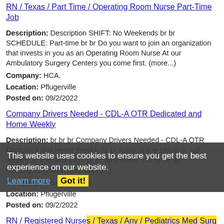RN / Texas / Part Time / Operating Room Nurse Part-Time Job
Description: Description SHIFT: No Weekends br br SCHEDULE: Part-time br br Do you want to join an organization that invests in you as an Operating Room Nurse At our Ambulatory Surgery Centers you come first. (more...)
Company: HCA.
Location: Pflugerville
Posted on: 09/2/2022
Company Drivers Needed - CDL-A OTR Dedicated and Home Weekly
Description: br br br Company Drivers Needed - CDL-A OTR Dedicated and Home Weekly br br Apply online below or call Jeremy at 855.446-1457 br br Why would you drive for Merctrucking Well, here (more...)
Company: MercSTrucking
Location: Pflugerville
Posted on: 09/2/2022
RN / Registered Nurses / Texas / Any / Pediatrics Med Surg Nurse Job
Description: Description SHIFT: PRN br br SCHEDULE: PRN/Per Diem br br Do you have the career opportunities as a you want in
This website uses cookies to ensure you get the best experience on our website. Learn more Got it!